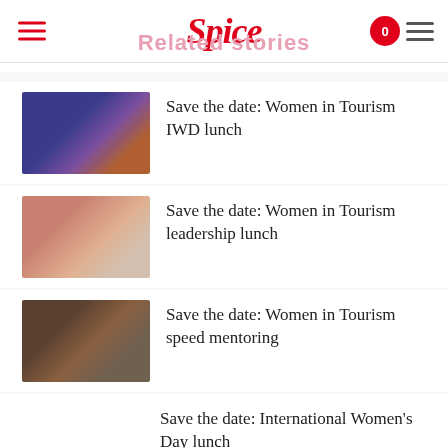Spice
Related stories
Save the date: Women in Tourism IWD lunch
Save the date: Women in Tourism leadership lunch
Save the date: Women in Tourism speed mentoring
Save the date: International Women’s Day lunch
Save the date: South Pacific Tourism Exchange